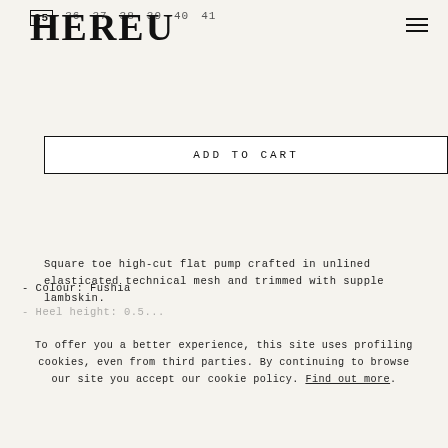HEREU  35  36  37  38  39  40  41
ADD TO CART
Square toe high-cut flat pump crafted in unlined elasticated technical mesh and trimmed with supple lambskin.
Handmade in Spain by uniquely talented artisans, celebrating excellence in craftsmanship.
- Colour: Fushia
To offer you a better experience, this site uses profiling cookies, even from third parties. By continuing to browse our site you accept our cookie policy. Find out more.
I AGREE